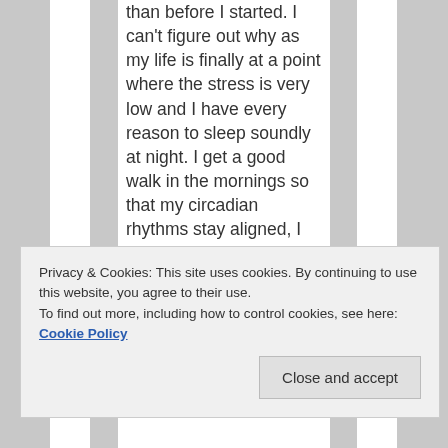than before I started. I can't figure out why as my life is finally at a point where the stress is very low and I have every reason to sleep soundly at night. I get a good walk in the mornings so that my circadian rhythms stay aligned, I observe good sleep hygiene every evening; I just can't seem to sleep longer than approx. 4 hours…sometimes 3,
Privacy & Cookies: This site uses cookies. By continuing to use this website, you agree to their use.
To find out more, including how to control cookies, see here: Cookie Policy